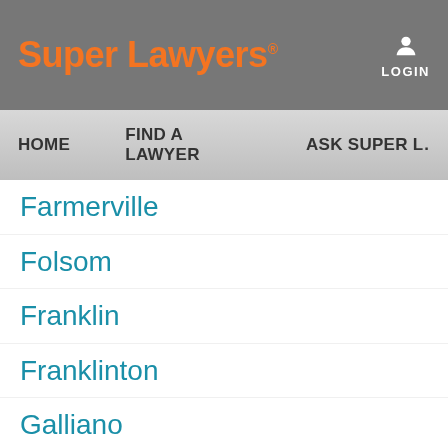Super Lawyers
LOGIN
HOME | FIND A LAWYER | ASK SUPER L...
Farmerville
Folsom
Franklin
Franklinton
Galliano
Garyville
Geismar